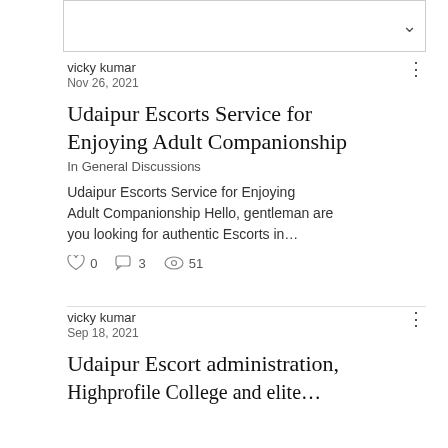[Figure (other): Collapsed/dropdown UI box with chevron down icon]
vicky kumar
Nov 26, 2021
Udaipur Escorts Service for Enjoying Adult Companionship
In General Discussions
Udaipur Escorts Service for Enjoying Adult Companionship Hello, gentleman are you looking for authentic Escorts in…
0   3   51
vicky kumar
Sep 18, 2021
Udaipur Escort administration, Highprofile College and elite…